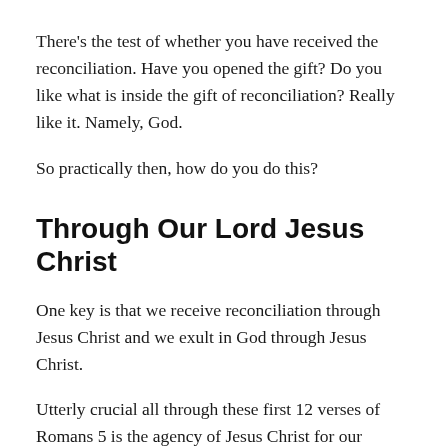There's the test of whether you have received the reconciliation. Have you opened the gift? Do you like what is inside the gift of reconciliation? Really like it. Namely, God.
So practically then, how do you do this?
Through Our Lord Jesus Christ
One key is that we receive reconciliation through Jesus Christ and we exult in God through Jesus Christ.
Utterly crucial all through these first 12 verses of Romans 5 is the agency of Jesus Christ for our